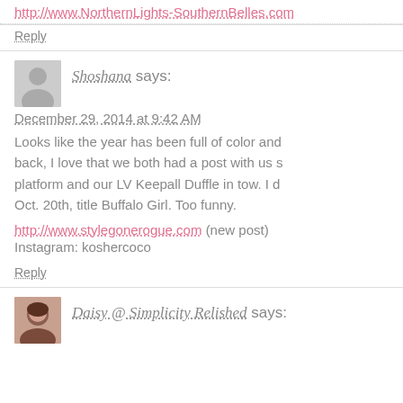http://www.NorthernLights-SouthernBelles.com
Reply
[Figure (illustration): Gray avatar silhouette icon for commenter Shoshana]
Shoshana says:
December 29, 2014 at 9:42 AM
Looks like the year has been full of color and back, I love that we both had a post with us s platform and our LV Keepall Duffle in tow. I d Oct. 20th, title Buffalo Girl. Too funny.
http://www.stylegonerogue.com (new post)
Instagram: koshercoco
Reply
[Figure (photo): Photo avatar of Daisy @ Simplicity Relished, showing a person's face]
Daisy @ Simplicity Relished says: